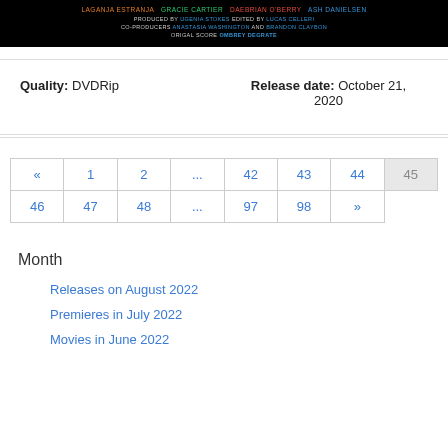[Figure (other): Movie credits banner on black background listing cast and crew]
Quality: DVDRip   Release date: October 21, 2020
| « | 1 | 2 | ... | 42 | 43 | 44 | 45 |
| 46 | 47 | 48 | ... | 97 | 98 | » |
Month
Releases on August 2022
Premieres in July 2022
Movies in June 2022